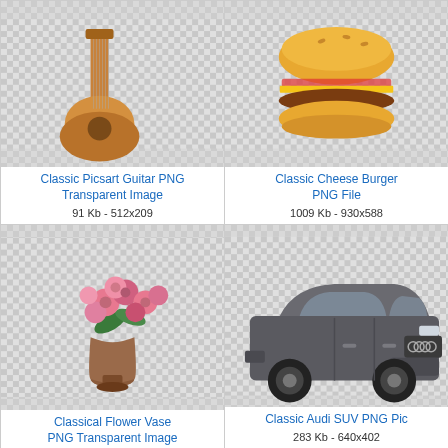[Figure (photo): Acoustic guitar on transparent/checkered background]
Classic Picsart Guitar PNG Transparent Image
91 Kb - 512x209
[Figure (photo): Cheeseburger on transparent/checkered background]
Classic Cheese Burger PNG File
1009 Kb - 930x588
[Figure (photo): Flower vase with pink roses on transparent/checkered background]
Classical Flower Vase PNG Transparent Image
[Figure (photo): Audi SUV on transparent/checkered background]
Classic Audi SUV PNG Pic
283 Kb - 640x402